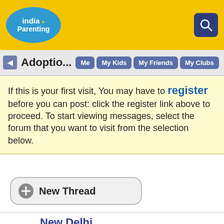India Parenting
Adoptio...
If this is your first visit, You may have to register before you can post: click the register link above to proceed. To start viewing messages, select the forum that you want to visit from the selection below.
New Thread
New Delhi
Are you a parent of an adopted child or planning to adopt a child? Join this forum to discuss all about adoption laws and rules in India, New Delhi adoption, inter-country adoption, legal documents for adoption, difficulties in adoption etc; with other adoptive parents.
Mumbai